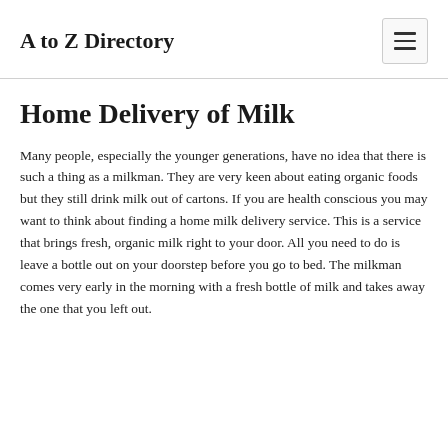A to Z Directory
Home Delivery of Milk
Many people, especially the younger generations, have no idea that there is such a thing as a milkman. They are very keen about eating organic foods but they still drink milk out of cartons. If you are health conscious you may want to think about finding a home milk delivery service. This is a service that brings fresh, organic milk right to your door. All you need to do is leave a bottle out on your doorstep before you go to bed. The milkman comes very early in the morning with a fresh bottle of milk and takes away the one that you left out.